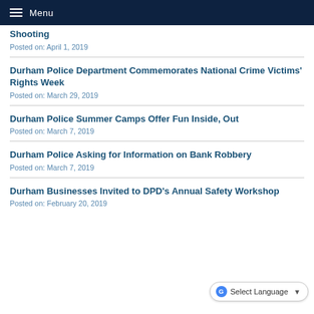Menu
Shooting
Posted on: April 1, 2019
Durham Police Department Commemorates National Crime Victims' Rights Week
Posted on: March 29, 2019
Durham Police Summer Camps Offer Fun Inside, Out
Posted on: March 7, 2019
Durham Police Asking for Information on Bank Robbery
Posted on: March 7, 2019
Durham Businesses Invited to DPD's Annual Safety Workshop
Posted on: February 20, 2019